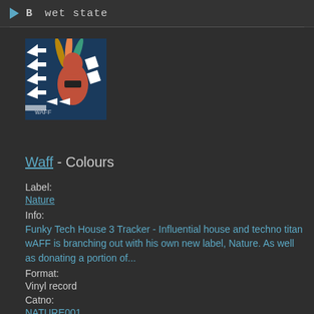B   wet state
[Figure (photo): Album artwork for Waff - Colours showing colorful graffiti style artwork with feathers and patterns on dark blue background]
Waff - Colours
Label:
Nature
Info:
Funky Tech House 3 Tracker - Influential house and techno titan wAFF is branching out with his own new label, Nature. As well as donating a portion of...
Format:
Vinyl record
Catno:
NATURE001